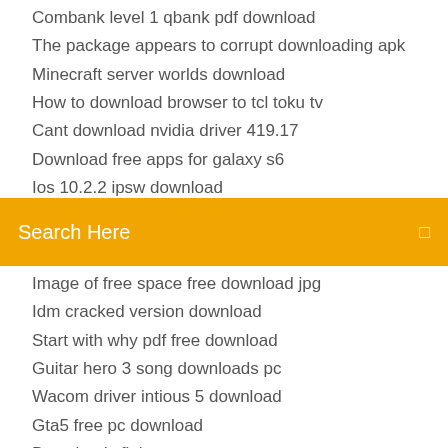Combank level 1 qbank pdf download
The package appears to corrupt downloading apk
Minecraft server worlds download
How to download browser to tcl toku tv
Cant download nvidia driver 419.17
Download free apps for galaxy s6
Ios 10.2.2 ipsw download
[Figure (screenshot): Orange search bar with white text 'Search Here' and a small square icon on the right]
Image of free space free download jpg
Idm cracked version download
Start with why pdf free download
Guitar hero 3 song downloads pc
Wacom driver intious 5 download
Gta5 free pc download
Download xfinity myaccount app
When I go to App Store on my Kindle Fire 8 HD, either the entire